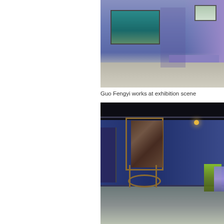[Figure (photo): Interior view of an art gallery corridor with blue-purple walls, artworks hung on walls, and a lit platform/display area visible in the background. Gallery space showing Guo Fengyi works.]
Guo Fengyi works at exhibition scene
[Figure (photo): Dark gallery interior with black ceiling, deep blue walls, and a large artwork displayed on a standing gold/brass frame/easel in the center. Colorful sculptural objects visible on the right side in the background. The artwork appears to be a large textured dark panel hung on the frame.]